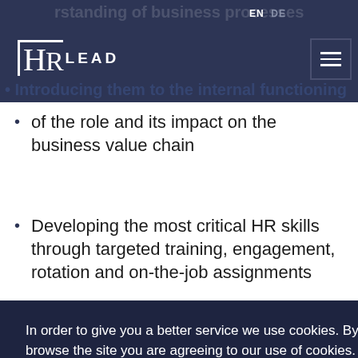HR LEAD — EN DE navigation header
of the role and its impact on the business value chain
Developing the most critical HR skills through targeted training, engagement, rotation and on-the-job assignments
In order to give you a better service we use cookies. By continuing to browse the site you are agreeing to our use of cookies.
Accept
chosen by the talented, will have a positive